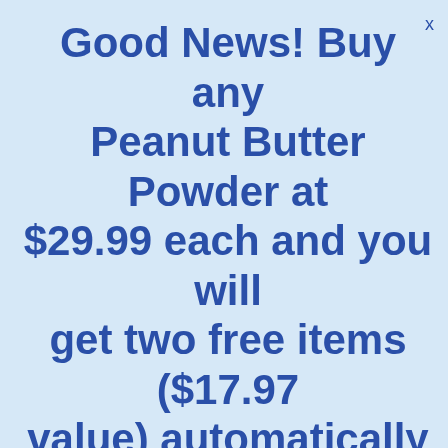Good News! Buy any Peanut Butter Powder at $29.99 each and you will get two free items ($17.97 value) automatically added to your cart !!!
is.
According to Stephanie Clark, a researched from the famed Mayo Clinic: